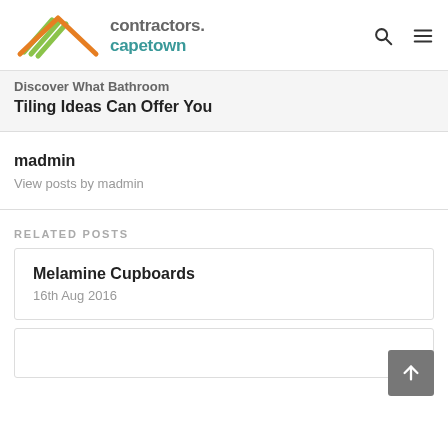contractors.capetown
Discover What Bathroom Tiling Ideas Can Offer You
madmin
View posts by madmin
RELATED POSTS
Melamine Cupboards
16th Aug 2016